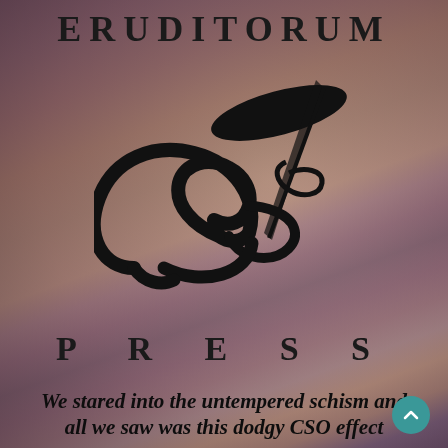ERUDITORUM
[Figure (logo): Eruditorum Press stylized 'EP' logo in black — a large cursive 'e' swirl combined with a 'P' letterform and a diagonal feather/quill element]
P R E S S
We stared into the untempered schism and all we saw was this dodgy CSO effect